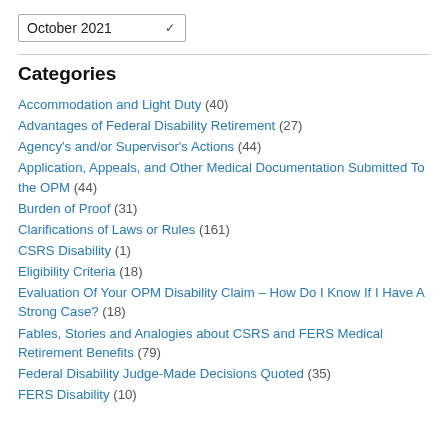October 2021 (dropdown)
Categories
Accommodation and Light Duty (40)
Advantages of Federal Disability Retirement (27)
Agency's and/or Supervisor's Actions (44)
Application, Appeals, and Other Medical Documentation Submitted To the OPM (44)
Burden of Proof (31)
Clarifications of Laws or Rules (161)
CSRS Disability (1)
Eligibility Criteria (18)
Evaluation Of Your OPM Disability Claim – How Do I Know If I Have A Strong Case? (18)
Fables, Stories and Analogies about CSRS and FERS Medical Retirement Benefits (79)
Federal Disability Judge-Made Decisions Quoted (35)
FERS Disability (10)